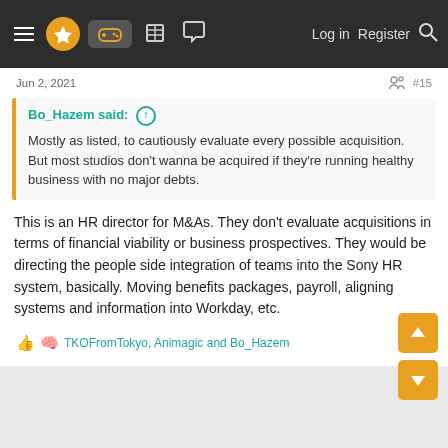Navigation bar with hamburger menu, logo, game icon, building icon, chat icon, Log in, Register, Search
Jun 2, 2021   #15
Bo_Hazem said: ↑
Mostly as listed, to cautiously evaluate every possible acquisition. But most studios don't wanna be acquired if they're running healthy business with no major debts.
This is an HR director for M&As. They don't evaluate acquisitions in terms of financial viability or business prospectives. They would be directing the people side integration of teams into the Sony HR system, basically. Moving benefits packages, payroll, aligning systems and information into Workday, etc.
👍 🧠 TKOFromTokyo, Animagic and Bo_Hazem